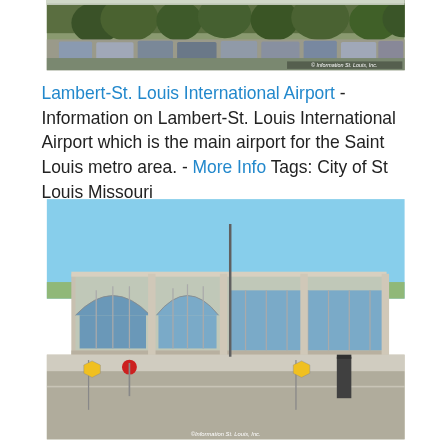[Figure (photo): Partial view of a parking lot with cars and trees at Lambert-St. Louis International Airport, with copyright watermark '© Information St. Louis, Inc.']
Lambert-St. Louis International Airport - Information on Lambert-St. Louis International Airport which is the main airport for the Saint Louis metro area. - More Info Tags: City of St Louis Missouri
[Figure (photo): Exterior view of Lambert-St. Louis International Airport terminal building with large arched glass windows, concrete columns, traffic signs in foreground, and copyright watermark '©Information St. Louis, Inc.']